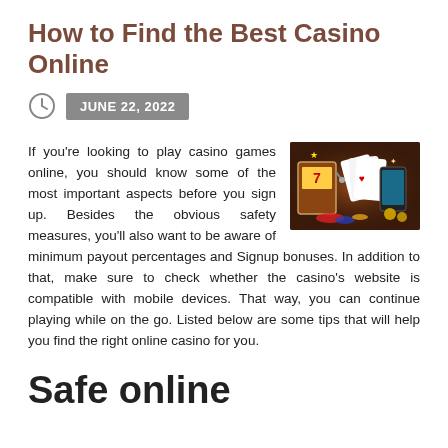How to Find the Best Casino Online
JUNE 22, 2022
[Figure (photo): Casino themed image with slot machine, playing cards, and mobile phone on dark background]
If you're looking to play casino games online, you should know some of the most important aspects before you sign up. Besides the obvious safety measures, you'll also want to be aware of minimum payout percentages and Signup bonuses. In addition to that, make sure to check whether the casino's website is compatible with mobile devices. That way, you can continue playing while on the go. Listed below are some tips that will help you find the right online casino for you.
Safe online